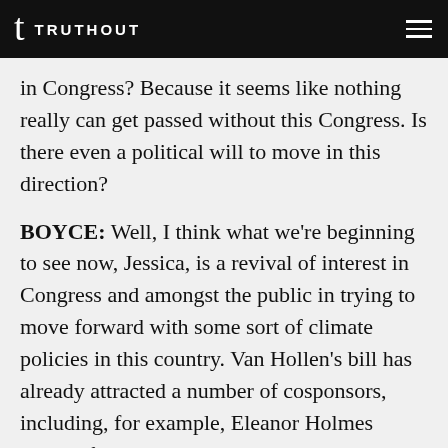TRUTHOUT
in Congress? Because it seems like nothing really can get passed without this Congress. Is there even a political will to move in this direction?
BOYCE: Well, I think what we're beginning to see now, Jessica, is a revival of interest in Congress and amongst the public in trying to move forward with some sort of climate policies in this country. Van Hollen's bill has already attracted a number of cosponsors, including, for example, Eleanor Holmes Norton from D.C.,